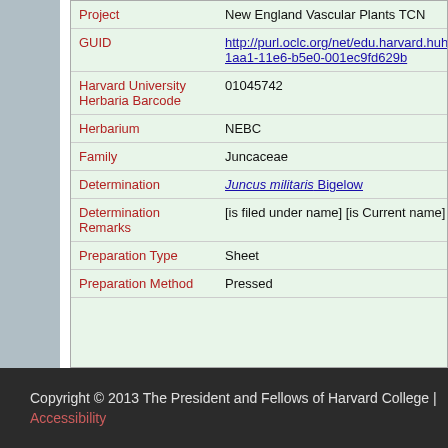| Field | Value |
| --- | --- |
| Project | New England Vascular Plants TCN |
| GUID | http://purl.oclc.org/net/edu.harvard.huh/guid/uuid/bd7...1aa1-11e6-b5e0-001ec9fd629b |
| Harvard University Herbaria Barcode | 01045742 |
| Herbarium | NEBC |
| Family | Juncaceae |
| Determination | Juncus militaris Bigelow |
| Determination Remarks | [is filed under name] [is Current name] |
| Preparation Type | Sheet |
| Preparation Method | Pressed |
Copyright © 2013 The President and Fellows of Harvard College | Accessibility